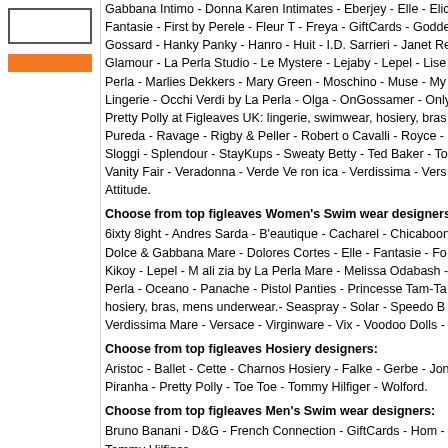[Figure (other): Left navigation panel with a bordered box and orange bar]
Gabbana Intimo - Donna Karen Intimates - Eberjey - Elle - Elic - Fantasie - First by Perele - Fleur T - Freya - GiftCards - Goddess - Gossard - Hanky Panky - Hanro - Huit - I.D. Sarrieri - Janet Re - Glamour - La Perla Studio - Le Mystere - Lejaby - Lepel - Lise - Perla - Marlies Dekkers - Mary Green - Moschino - Muse - My - Lingerie - Occhi Verdi by La Perla - Olga - OnGossamer - Only - Pretty Polly at Figleaves UK: lingerie, swimwear, hosiery, bras - Pureda - Ravage - Rigby & Peller - Robert o Cavalli - Royce - Sloggi - Splendour - StayKups - Sweaty Betty - Ted Baker - To - Vanity Fair - Veradonna - Verde Ve ron ica - Verdissima - Vers - Attitude.
Choose from top figleaves Women's Swim wear designers:
6ixty 8ight - Andres Sarda - B'eautique - Cacharel - Chicaboon - Dolce & Gabbana Mare - Dolores Cortes - Elle - Fantasie - Fo - Kikoy - Lepel - M ali zia by La Perla Mare - Melissa Odabash - Perla - Oceano - Panache - Pistol Panties - Princesse Tam-Ta - hosiery, bras, mens underwear.- Seaspray - Solar - Speedo B - Verdissima Mare - Versace - Virginware - Vix - Voodoo Dolls -
Choose from top figleaves Hosiery designers:
Aristoc - Ballet - Cette - Charnos Hosiery - Falke - Gerbe - Jon - Piranha - Pretty Polly - Toe Toe - Tommy Hilfiger - Wolford.
Choose from top figleaves Men's Swim wear designers:
Bruno Banani - D&G - French Connection - GiftCards - Hom - Tommy Hilfiger.
Choose from top figleaves Men's Nightwear designers:
Calvin Klein - GiftCards - Hanro - Jeff Banks - Nike - Ted Ba -